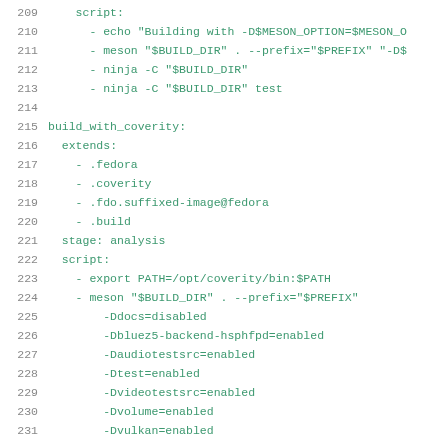Code listing lines 209-231, YAML CI configuration snippet showing build_with_coverity job definition with script steps, extends, stage, and meson build options.